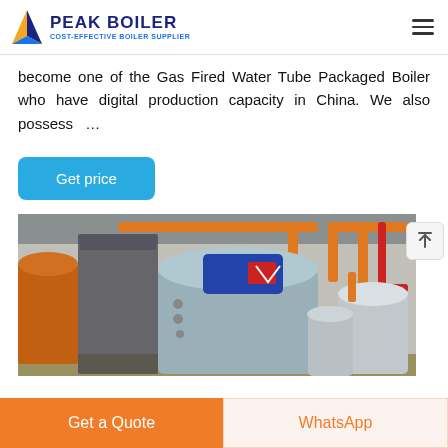PEAK BOILER — COST-EFFECTIVE BOILER SUPPLIER
become one of the Gas Fired Water Tube Packaged Boiler who have digital production capacity in China. We also possess …
Get price
[Figure (photo): Industrial boiler room with large cylindrical boilers, orange and red pipes, metal structures, and various industrial equipment.]
Get a Quote | WhatsApp